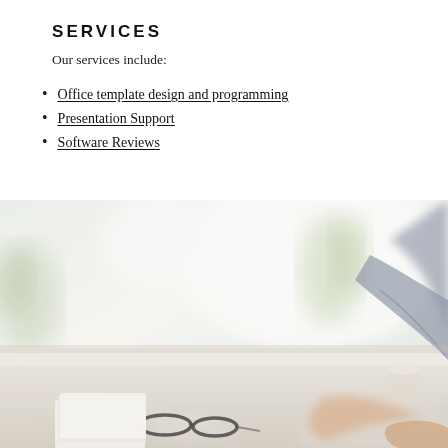SERVICES
Our services include:
Office template design and programming
Presentation Support
Software Reviews
[Figure (photo): Office scene with two people working at a desk with computers, glasses and notebooks on a white desk, blurred indoor plant background]